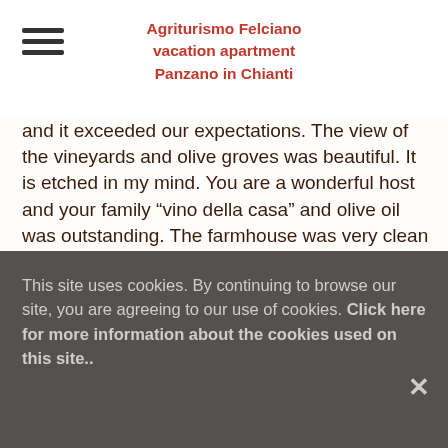Agriturismo Felciano vacation apartment Panzano in Chianti
and it exceeded our expectations. The view of the vineyards and olive groves was beautiful. It is etched in my mind. You are a wonderful host and your family “vino della casa” and olive oil was outstanding. The farmhouse was very clean and spacious. We loved the beamed ceilings and stone exterior. I would recommend a stay at Agriturismo Felciano to anyone who wants to experience what I consider the most wonderful of Italian lifestyles. We stayed for a week and took a drive everyday to a different hilltown (San Gimignano,
This site uses cookies. By continuing to browse our site, you are agreeing to our use of cookies. Click here for more information about the cookies used on this site..